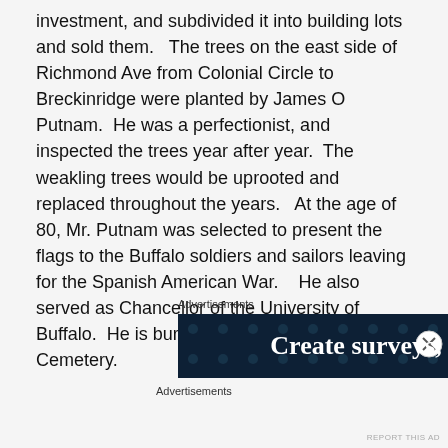investment, and subdivided it into building lots and sold them.   The trees on the east side of Richmond Ave from Colonial Circle to Breckinridge were planted by James O Putnam.  He was a perfectionist, and inspected the trees year after year.  The weakling trees would be uprooted and replaced throughout the years.   At the age of 80, Mr. Putnam was selected to present the flags to the Buffalo soldiers and sailors leaving for the Spanish American War.    He also served as Chancellor of the University of Buffalo.  He is buried in Forest Lawn Cemetery.
Advertisements
[Figure (other): Dark navy blue advertisement banner with dot pattern background and white bold text reading 'Create surveys,']
Advertisements